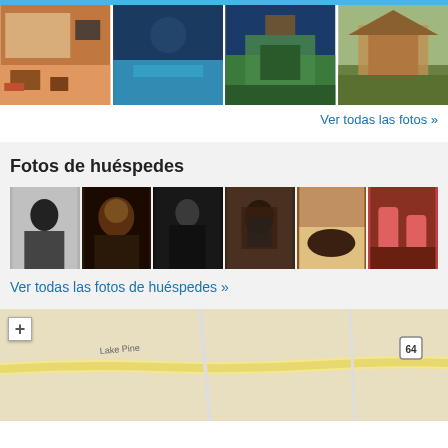[Figure (photo): Grid of 4 hotel photos: hotel room interior, outdoor pool at night, hotel exterior entrance, gazebo]
Ver todas las fotos »
Fotos de huéspedes
[Figure (photo): Row of 6 guest photos: black and white woman sitting, woman with glasses, person in dark clothes, person taking selfie, dog on bed, drinks on table]
Ver todas las fotos de huéspedes »
[Figure (map): Street map showing Lake Pine road area with route 64 marker and zoom in button]